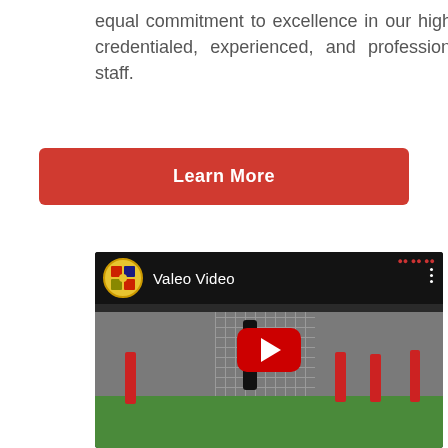equal commitment to excellence in our highly credentialed, experienced, and professional staff.
[Figure (other): Red button with white bold text 'Learn More', rounded rectangle shape]
[Figure (screenshot): YouTube video thumbnail showing indoor soccer/football training session with children in red uniforms. Video title 'Valeo Video' with club logo. Large red YouTube play button centered over the image. Green turf field visible at bottom, gray net wall in background.]